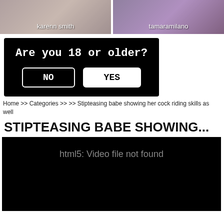[Figure (screenshot): Two thumbnail images side by side: left labeled 'karenn smith', right labeled 'tamaramilano']
[Figure (screenshot): Age verification dialog on black background with text 'Are you 18 or older?' and two buttons: NO and YES]
Home >> Categories >> >> Stipteasing babe showing her cock riding skills as well
STIPTEASING BABE SHOWING...
[Figure (screenshot): Black video player area showing error message: 'html5: Video file not found']